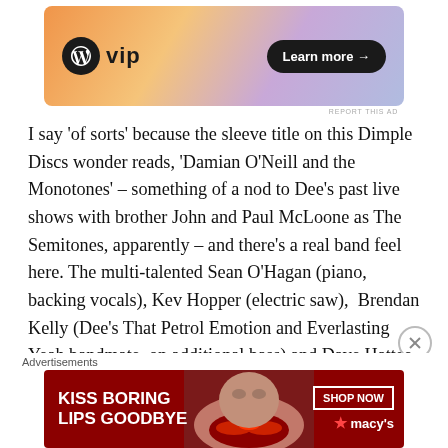[Figure (infographic): WordPress VIP advertisement banner with orange-pink-purple gradient background, WP logo, 'vip' text, and 'Learn more →' button]
REPORT THIS AD
I say 'of sorts' because the sleeve title on this Dimple Discs wonder reads, 'Damian O'Neill and the Monotones' – something of a nod to Dee's past live shows with brother John and Paul McLoone as The Semitones, apparently – and there's a real band feel here. The multi-talented Sean O'Hagan (piano, backing vocals), Kev Hopper (electric saw),  Brendan Kelly (Dee's That Petrol Emotion and Everlasting Yeah bandmate, on additional bass) and Dave Hattee (drums, percussion, piano), are among those also featured, but it's your main-man supplying all the guitar
Advertisements
[Figure (infographic): Macy's lipstick advertisement with dark red background, woman's face with red lips, 'KISS BORING LIPS GOODBYE' text, 'SHOP NOW' button and Macy's star logo]